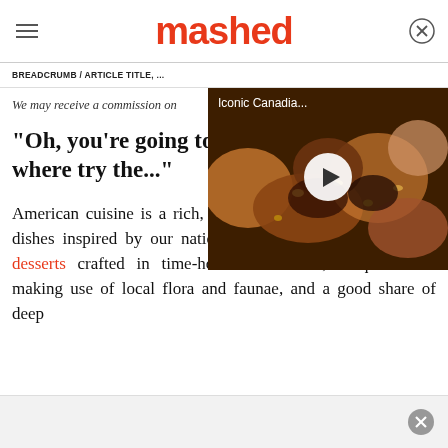mashed
BREADCRUMB / ARTICLE TITLE, ...
[Figure (screenshot): Video thumbnail overlay showing food (Canadian dish) with title 'Iconic Canadia...' and a white play button in the center]
We may receive a commission on...
"Oh, you're going to where try the..."
American cuisine is a rich, varied affair boasting delectable dishes inspired by our nation's cultural diversity, indulgent desserts crafted in time-honored tradition, unique meals making use of local flora and faunae, and a good share of deep...